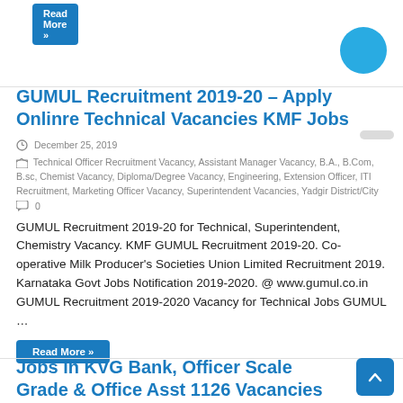Read More »
GUMUL Recruitment 2019-20 – Apply Onlinre Technical Vacancies KMF Jobs
December 25, 2019
Technical Officer Recruitment Vacancy, Assistant Manager Vacancy, B.A., B.Com, B.sc, Chemist Vacancy, Diploma/Degree Vacancy, Engineering, Extension Officer, ITI Recruitment, Marketing Officer Vacancy, Superintendent Vacancies, Yadgir District/City
0
GUMUL Recruitment 2019-20 for Technical, Superintendent, Chemistry Vacancy. KMF GUMUL Recruitment 2019-20. Co-operative Milk Producer's Societies Union Limited Recruitment 2019. Karnataka Govt Jobs Notification 2019-2020. @ www.gumul.co.in GUMUL Recruitment 2019-2020 Vacancy for Technical Jobs GUMUL …
Read More »
Jobs in KVG Bank, Officer Scale Grade & Office Asst 1126 Vacancies 2019